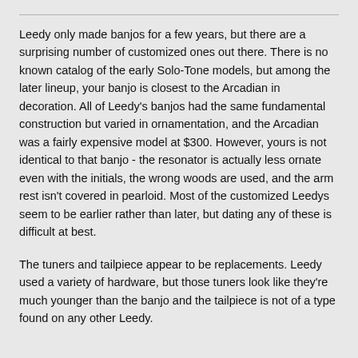Leedy only made banjos for a few years, but there are a surprising number of customized ones out there. There is no known catalog of the early Solo-Tone models, but among the later lineup, your banjo is closest to the Arcadian in decoration. All of Leedy's banjos had the same fundamental construction but varied in ornamentation, and the Arcadian was a fairly expensive model at $300. However, yours is not identical to that banjo - the resonator is actually less ornate even with the initials, the wrong woods are used, and the arm rest isn't covered in pearloid. Most of the customized Leedys seem to be earlier rather than later, but dating any of these is difficult at best.
The tuners and tailpiece appear to be replacements. Leedy used a variety of hardware, but those tuners look like they're much younger than the banjo and the tailpiece is not of a type found on any other Leedy.